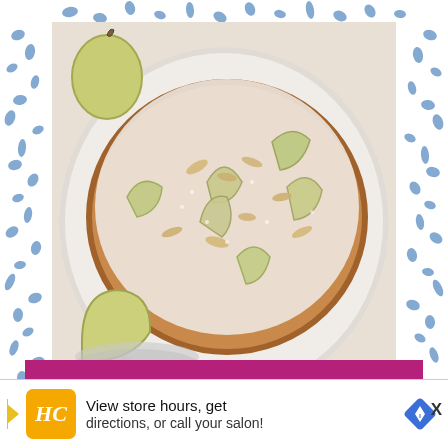[Figure (photo): Overhead view of an Italian Almond Pear Cake on a white decorative plate, dusted with powdered sugar, showing sliced pears on top with almond flakes, with pear halves visible in the background on a light surface. The image has a blue watercolor dot border pattern on the sides.]
ITALIAN ALMOND PEAR CAKE
WWW.HAPPILYEVAAFTER.COM
[Figure (infographic): Advertisement bar with HC logo in yellow/gold square, text reading 'View store hours, get directions, or call your salon!' and a blue diamond navigation icon.]